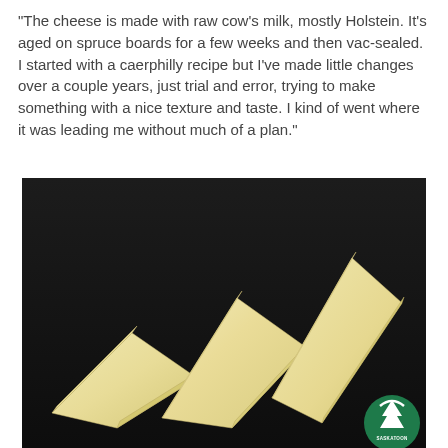“The cheese is made with raw cow’s milk, mostly Holstein. It’s aged on spruce boards for a few weeks and then vac-sealed. I started with a caerphilly recipe but I’ve made little changes over a couple years, just trial and error, trying to make something with a nice texture and taste. I kind of went where it was leading me without much of a plan.”
[Figure (photo): Three wedge-shaped pieces of pale yellow/ivory cheese arranged on a dark (black/charcoal) surface, viewed at a slight angle. A green circular logo with a white tree silhouette and the text 'SASKATOON' appears in the bottom-right corner of the image.]